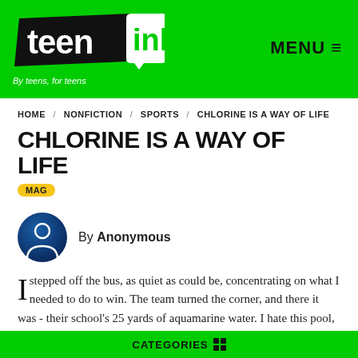[Figure (logo): Teen Ink logo — black parallelogram with 'teen' in white bold text, and 'ink' in a white speech-bubble shape with green text, tagline 'By teens, for teens' below in white italic]
MENU ≡
HOME / NONFICTION / SPORTS / CHLORINE IS A WAY OF LIFE
CHLORINE IS A WAY OF LIFE
MAG
[Figure (illustration): Circular avatar icon with dark blue gradient background and white person silhouette outline]
By Anonymous
I stepped off the bus, as quiet as could be, concentrating on what I needed to do to win. The team turned the corner, and there it was - their school's 25 yards of aquamarine water. I hate this pool, I thought. I've always hated this pool. I really
CATEGORIES ⊞